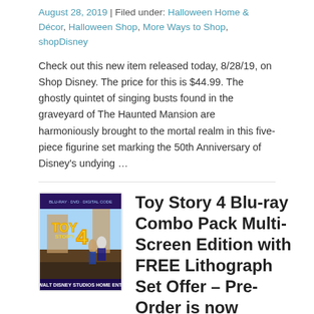August 28, 2019 | Filed under: Halloween Home & Décor, Halloween Shop, More Ways to Shop, shopDisney
Check out this new item released today, 8/28/19, on Shop Disney. The price for this is $44.99. The ghostly quintet of singing busts found in the graveyard of The Haunted Mansion are harmoniously brought to the mortal realm in this five-piece figurine set marking the 50th Anniversary of Disney's undying …
[Figure (photo): Toy Story 4 Blu-ray movie cover art showing characters Woody, Buzz, and Forky]
Toy Story 4 Blu-ray Combo Pack Multi-Screen Edition with FREE Lithograph Set Offer – Pre-Order is now available online